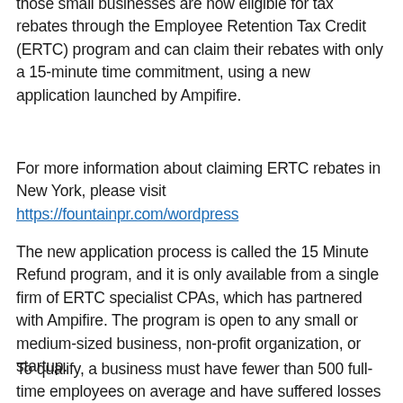those small businesses are now eligible for tax rebates through the Employee Retention Tax Credit (ERTC) program and can claim their rebates with only a 15-minute time commitment, using a new application launched by Ampifire.
For more information about claiming ERTC rebates in New York, please visit https://fountainpr.com/wordpress
The new application process is called the 15 Minute Refund program, and it is only available from a single firm of ERTC specialist CPAs, which has partnered with Ampifire. The program is open to any small or medium-sized business, non-profit organization, or startup.
To qualify, a business must have fewer than 500 full-time employees on average and have suffered losses during the pandemic. Losses can be shown either